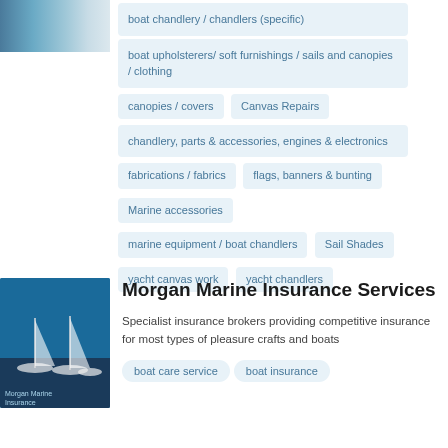[Figure (photo): Partial boat/marine image at top left]
boat chandlery / chandlers (specific)
boat upholsterers/ soft furnishings / sails and canopies / clothing
canopies / covers
Canvas Repairs
chandlery, parts & accessories, engines & electronics
fabrications / fabrics
flags, banners & bunting
Marine accessories
marine equipment / boat chandlers
Sail Shades
yacht canvas work
yacht chandlers
[Figure (photo): Morgan Marine Insurance Services logo and boat image]
Morgan Marine Insurance Services
Specialist insurance brokers providing competitive insurance for most types of pleasure crafts and boats
boat care service
boat insurance